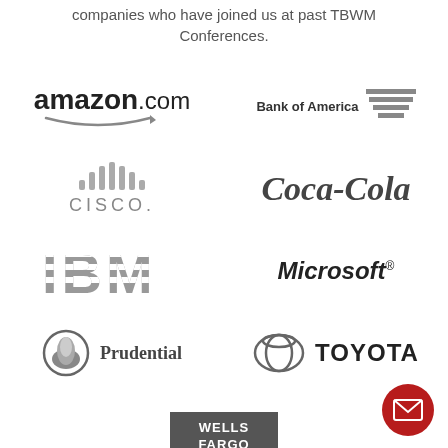companies who have joined us at past TBWM Conferences.
[Figure (logo): Amazon.com logo with arrow]
[Figure (logo): Bank of America logo]
[Figure (logo): Cisco logo with signal bars]
[Figure (logo): Coca-Cola logo]
[Figure (logo): IBM striped logo]
[Figure (logo): Microsoft logo]
[Figure (logo): Prudential logo with rock icon]
[Figure (logo): Toyota logo with oval rings]
[Figure (logo): Wells Fargo logo on dark background]